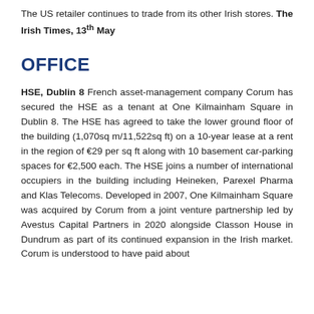The US retailer continues to trade from its other Irish stores. The Irish Times, 13th May
OFFICE
HSE, Dublin 8 French asset-management company Corum has secured the HSE as a tenant at One Kilmainham Square in Dublin 8. The HSE has agreed to take the lower ground floor of the building (1,070sq m/11,522sq ft) on a 10-year lease at a rent in the region of €29 per sq ft along with 10 basement car-parking spaces for €2,500 each. The HSE joins a number of international occupiers in the building including Heineken, Parexel Pharma and Klas Telecoms. Developed in 2007, One Kilmainham Square was acquired by Corum from a joint venture partnership led by Avestus Capital Partners in 2020 alongside Classon House in Dundrum as part of its continued expansion in the Irish market. Corum is understood to have paid about